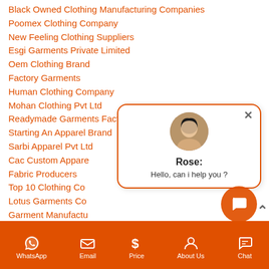Black Owned Clothing Manufacturing Companies
Poomex Clothing Company
New Feeling Clothing Suppliers
Esgi Garments Private Limited
Oem Clothing Brand
Factory Garments
Human Clothing Company
Mohan Clothing Pvt Ltd
Readymade Garments Factory
Starting An Apparel Brand
Sarbi Apparel Pvt Ltd
Cac Custom Apparel
Fabric Producers
Top 10 Clothing Co
Lotus Garments Co
Garment Manufactu
Garment Export Company
Successful T Shirt Companies
Ethical Garments Ltd
Singla Apparels Pvt Ltd
[Figure (screenshot): Chat popup with avatar of Rose saying Hello, can i help you?]
WhatsApp  Email  Price  About Us  Chat